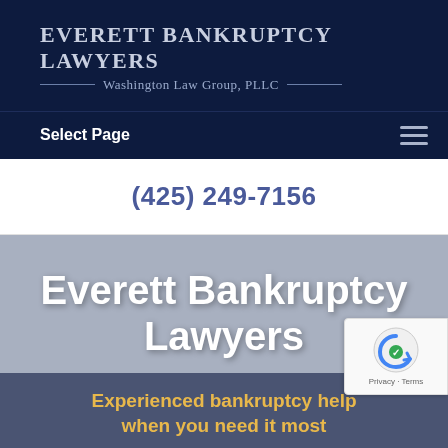[Figure (logo): Everett Bankruptcy Lawyers - Washington Law Group, PLLC logo on dark navy background with decorative lines flanking subtitle]
Select Page
(425) 249-7156
Everett Bankruptcy Lawyers
Experienced bankruptcy help when you need it most